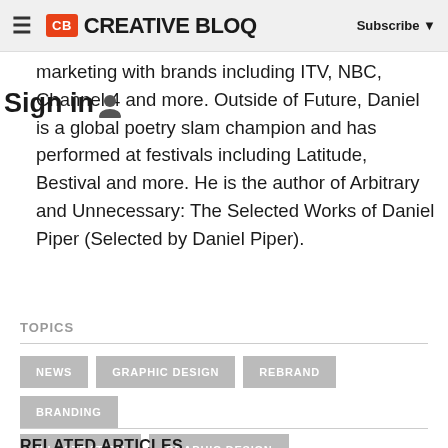CB CREATIVE BLOQ  Subscribe
marketing with brands including ITV, NBC, Channel 4 and more. Outside of Future, Daniel is a global poetry slam champion and has performed at festivals including Latitude, Bestival and more. He is the author of Arbitrary and Unnecessary: The Selected Works of Daniel Piper (Selected by Daniel Piper).
TOPICS
NEWS
GRAPHIC DESIGN
REBRAND
BRANDING
ILLUSTRATION
GRAPHIC DESIGN
RELATED ARTICLES